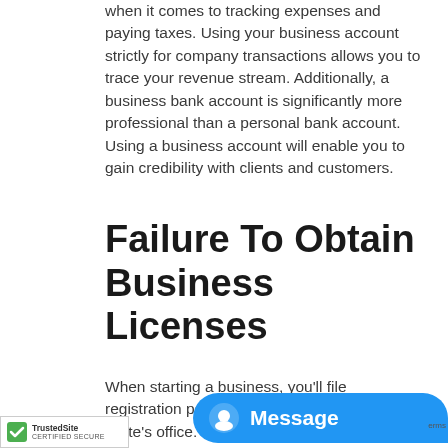when it comes to tracking expenses and paying taxes. Using your business account strictly for company transactions allows you to trace your revenue stream. Additionally, a business bank account is significantly more professional than a personal bank account. Using a business account will enable you to gain credibility with clients and customers.
Failure To Obtain Business Licenses
When starting a business, you'll file registration paperwork with the Secretary of State's office. However, the administrative requirements are not complete upon doing so. Entrepreneurs will also need to secure licenses and perm... federal, local, and state level. Failure to...